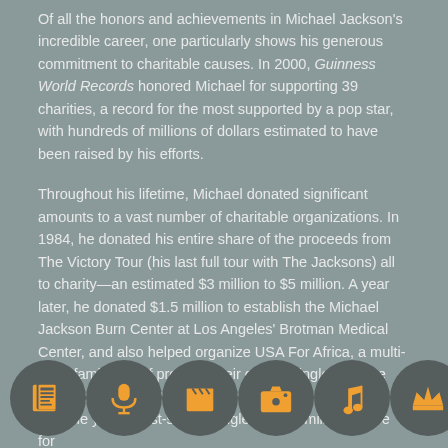Of all the honors and achievements in Michael Jackson's incredible career, one particularly shows his generous commitment to charitable causes. In 2000, Guinness World Records honored Michael for supporting 39 charities, a record for the most supported by a pop star, with hundreds of millions of dollars estimated to have been raised by his efforts.

Throughout his lifetime, Michael donated significant amounts to a vast number of charitable organizations. In 1984, he donated his entire share of the proceeds from The Victory Tour (his last full tour with The Jacksons) all to charity—an estimated $3 million to $5 million. A year later, he donated $1.5 million to establish the Michael Jackson Burn Center at Los Angeles' Brotman Medical Center, and also helped organize USA For Africa, a multi-artist famine relief project. Their charity single "We Are The World," which Michael co-wrote with Lionel Richie, was the year's best-selling single, raising millions more for
[Figure (infographic): Row of six orange icon circles on dark background: newspaper, microphone, film clapperboard, camera, music note, crown]